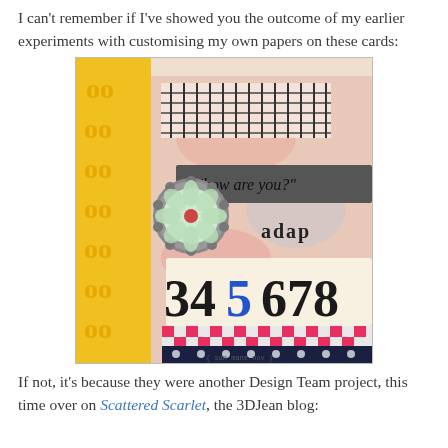I can't remember if I've showed you the outcome of my earlier experiments with customising my own papers on these cards:
[Figure (photo): A close-up photo of handmade craft cards layered with colorful patterned papers, stamped text reading 'how are you?', a decorative flower button embellishment, numbers 3 4 5 6 7 8, pink checkered ribbon/tape, and other mixed media decorative elements.]
If not, it's because they were another Design Team project, this time over on Scattered Scarlet, the 3DJean blog: